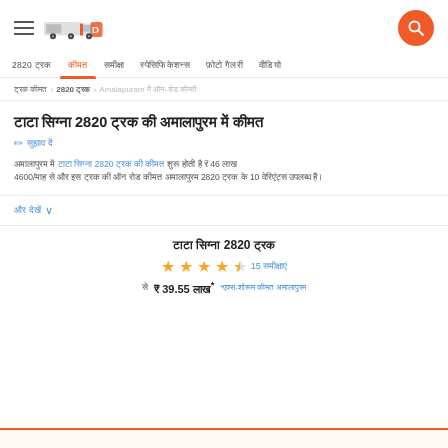TrucksDekho logo and navigation header
2820 ट्रक  कीमत  समीक्षा  स्पेसिफिकेशन्स  फ़ोटो गैलरी  वीडियो
ट्रक कीमत > 2820 ट्रक > Amalapuram में ऑन-रोड कीमतें
टाटा सिग्ना 2820 ट्रक की अमालापुरम में कीमत
सुझाव दें
अमालापुरम में टाटा सिग्ना 2820 ट्रक की कीमत शुरू होती है ₹ 46 लाख 4600/माह से और इस ट्रक की ऑन रोड कीमत अमालापुरम 2820 ट्रक के 10 वेरिएंट्स उपलब्ध हैं।
और देखें
टाटा सिग्ना 2820 ट्रक
★★★★☆ 15 समीक्षाएं
से ₹ 39.55 लाख* *एक्स-शोरूम कीमत अमालापुरम